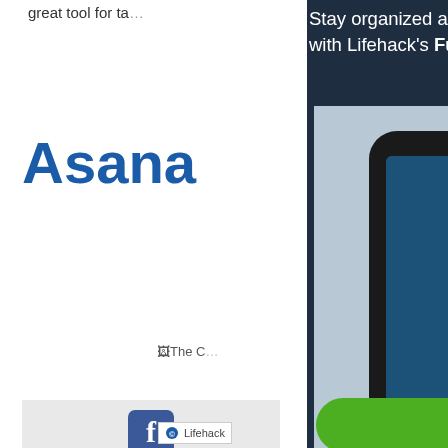great tool for ta…
Asana
[Figure (screenshot): Broken image placeholder labeled 'The C…']
[Figure (screenshot): Facebook share button icon area]
Asana is ideal f… collaborative ta… projects and ass… be assigned to a… list of responsib… created… you ca…
[Figure (advertisement): Dark navy overlay panel promoting Lifehack Full Life Planner. Contains header text 'Stay organized and get things done efficiently with Lifehack's Full Life Planner.', image of tablet showing The Full Life Planner book cover with Lifehack branding, gold circular logo, and a green 'Get My Planner' button. Lifehack logo watermark at bottom.]
Stay organized and get things done efficiently with Lifehack's Full Life Planner.
Get My Planner